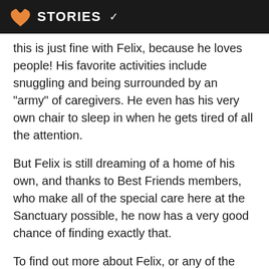STORIES
this is just fine with Felix, because he loves people! His favorite activities include snuggling and being surrounded by an "army" of caregivers. He even has his very own chair to sleep in when he gets tired of all the attention.
But Felix is still dreaming of a home of his own, and thanks to Best Friends members, who make all of the special care here at the Sanctuary possible, he now has a very good chance of finding exactly that.
To find out more about Felix, or any of the other wonderful cats at Best Friends, visit Cat World at the Sanctuary or the Adopt a Pet section of our website.